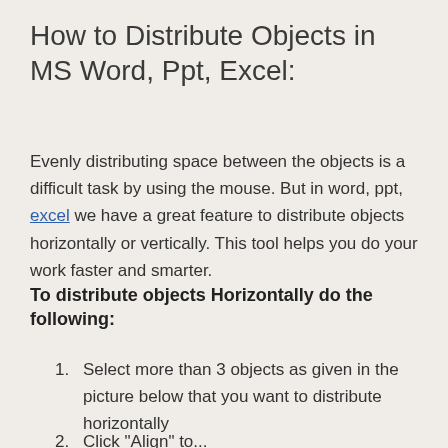How to Distribute Objects in MS Word, Ppt, Excel:
Evenly distributing space between the objects is a difficult task by using the mouse. But in word, ppt, excel we have a great feature to distribute objects horizontally or vertically. This tool helps you do your work faster and smarter.
To distribute objects Horizontally do the following:
Select more than 3 objects as given in the picture below that you want to distribute horizontally
Click "Align" to ...